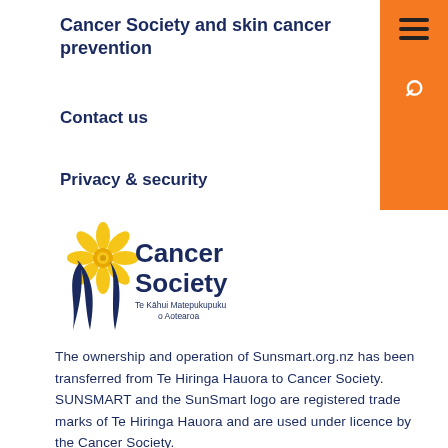Cancer Society and skin cancer prevention
Contact us
Privacy & security
[Figure (logo): Cancer Society Te Kāhui Matepukupuku o Aotearoa logo with daffodil flower and navy text]
The ownership and operation of Sunsmart.org.nz has been transferred from Te Hiringa Hauora to Cancer Society. SUNSMART and the SunSmart logo are registered trade marks of Te Hiringa Hauora and are used under licence by the Cancer Society.